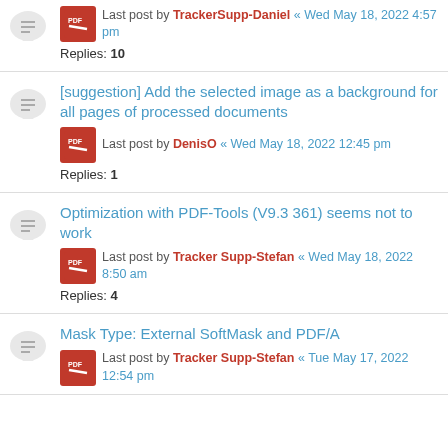Last post by TrackerSupp-Daniel « Wed May 18, 2022 4:57 pm
Replies: 10
[suggestion] Add the selected image as a background for all pages of processed documents
Last post by DenisO « Wed May 18, 2022 12:45 pm
Replies: 1
Optimization with PDF-Tools (V9.3 361) seems not to work
Last post by Tracker Supp-Stefan « Wed May 18, 2022 8:50 am
Replies: 4
Mask Type: External SoftMask and PDF/A
Last post by Tracker Supp-Stefan « Tue May 17, 2022 12:54 pm